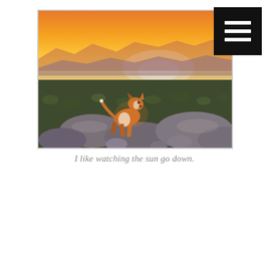[Figure (photo): A brown and white dog standing on rocks, looking out over a vast desert landscape with scrubby green vegetation under a vivid orange and yellow sunset sky with distant mountain silhouettes.]
I like watching the sun go down.